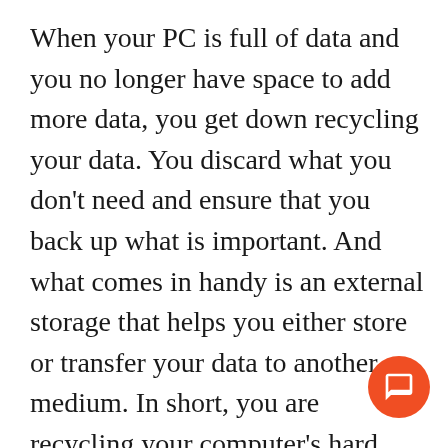When your PC is full of data and you no longer have space to add more data, you get down recycling your data. You discard what you don't need and ensure that you back up what is important. And what comes in handy is an external storage that helps you either store or transfer your data to another medium. In short, you are recycling your computer's hard drives or storage so that you can create more space. However, this time, since you know you ran out of space because of unwanted junk not taken care of in time, you will make sure that you store only important data